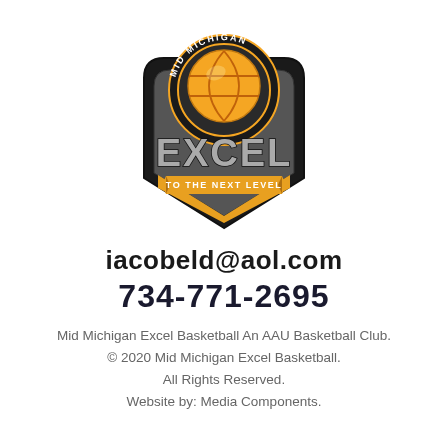[Figure (logo): Mid Michigan Excel Basketball logo featuring a basketball inside a shield shape with 'MID MICHIGAN' text around the top arc, 'EXCEL' in large bold letters, and 'TO THE NEXT LEVEL' on a banner ribbon. Colors: black, gold/orange, and white.]
iacobeld@aol.com
734-771-2695
Mid Michigan Excel Basketball An AAU Basketball Club.
© 2020 Mid Michigan Excel Basketball.
All Rights Reserved.
Website by: Media Components.